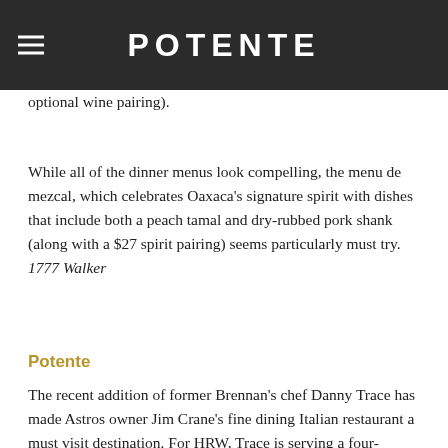POTENTE
optional wine pairing).
While all of the dinner menus look compelling, the menu de mezcal, which celebrates Oaxaca's signature spirit with dishes that include both a peach tamal and dry-rubbed pork shank (along with a $27 spirit pairing) seems particularly must try. 1777 Walker
Potente
The recent addition of former Brennan's chef Danny Trace has made Astros owner Jim Crane's fine dining Italian restaurant a must visit destination. For HRW, Trace is serving a four-course, $45 dinner menu that blends Italian preparations with Texas ingredients. Start with a classic dish like burrata caprese salad or Italian wedding soup. Entree options include a spicy pasta fra diavolo with Texas shrimp, Hill Country quail saltimbocca, and